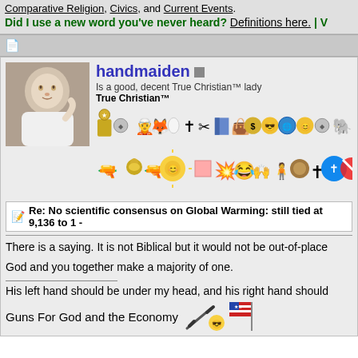Comparative Religion, Civics, and Current Events.
Did I use a new word you've never heard? Definitions here. | V
handmaiden — Is a good, decent True Christian™ lady — True Christian™
[Figure (photo): Baby photo used as forum avatar]
[Figure (illustration): Row of forum badge icons/emoticons]
Re: No scientific consensus on Global Warming: still tied at 9,136 to 1 -
There is a saying. It is not Biblical but it would not be out-of-place
God and you together make a majority of one.
His left hand should be under my head, and his right hand should
Guns For God and the Economy